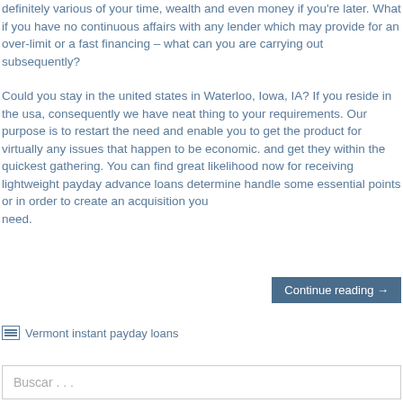definitely various of your time, wealth and even money if you're later. What if you have no continuous affairs with any lender which may provide for an over-limit or a fast financing – what can you are carrying out subsequently?
Could you stay in the united states in Waterloo, Iowa, IA? If you reside in the usa, consequently we have neat thing to your requirements. Our purpose is to restart the need and enable you to get the product for virtually any issues that happen to be economic. and get they within the quickest gathering. You can find great likelihood now for receiving lightweight payday advance loans determine handle some essential points or in order to create an acquisition you need.
Continue reading →
Vermont instant payday loans
Buscar . . .